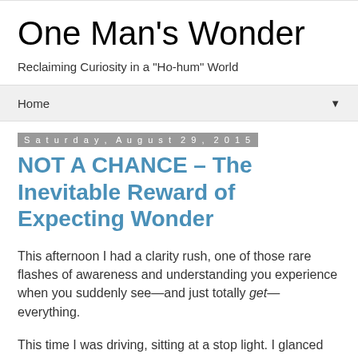One Man's Wonder
Reclaiming Curiosity in a "Ho-hum" World
Home ▼
Saturday, August 29, 2015
NOT A CHANCE – The Inevitable Reward of Expecting Wonder
This afternoon I had a clarity rush, one of those rare flashes of awareness and understanding you experience when you suddenly see—and just totally get—everything.
This time I was driving, sitting at a stop light. I glanced around at the far-from-remarkable surroundings: the Quarry shopping center with its Target and Home Depot; the McDonald's and Taco Bell across the street; the other cars and drivers.